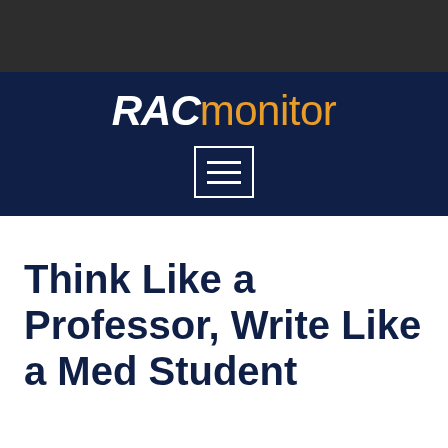[Figure (logo): Black top bar decorative band]
RACmonitor
Think Like a Professor, Write Like a Med Student